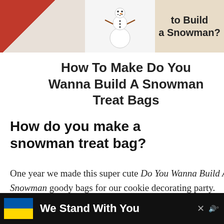[Figure (photo): Hero image showing snowman treat bag crafts — left portion has red background, center shows a cartoon snowman (Olaf), right portion shows text 'to Build a Snowman?' on a beige/tan background]
How To Make Do You Wanna Build A Snowman Treat Bags
How do you make a snowman treat bag?
One year we made this super cute Do You Wanna Build A Snowman goody bags for our cookie decorating party. This holiday craft for kids was a huge hit and
[Figure (infographic): Advertisement banner: black background with Ukrainian flag (blue and yellow), text 'We Stand With You', close button X, and a small speaker/audio icon]